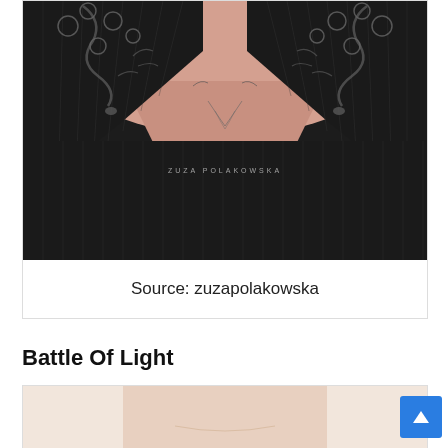[Figure (photo): Close-up photo of a person's torso with detailed snake and floral tattoos visible on the upper chest/collar area. The person is wearing a black pinstripe blazer or jacket. A watermark reads 'ZUZA POLAKOWSKA' in the center of the image.]
Source: zuzapolakowska
Battle Of Light
[Figure (photo): Partial view of another photo beginning to appear at the bottom of the page, showing a person's neck/chest area with fair skin, light background.]